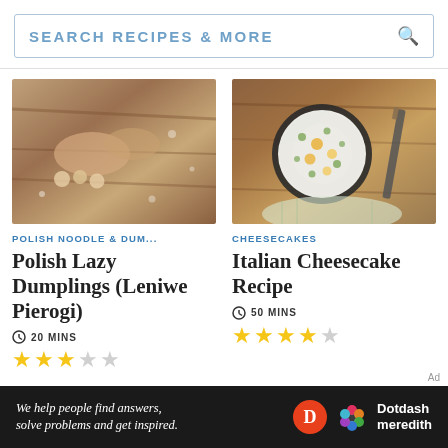SEARCH RECIPES & MORE
[Figure (photo): Hands kneading dough with dumplings on a wooden board dusted with flour]
POLISH NOODLE & DUM...
Polish Lazy Dumplings (Leniwe Pierogi)
20 MINS
3.5 stars out of 5
[Figure (photo): Top-down view of an Italian cheesecake in a dark pan on a wooden surface with a knife]
CHEESECAKES
Italian Cheesecake Recipe
50 MINS
4 stars out of 5
We help people find answers, solve problems and get inspired.
Dotdash meredith